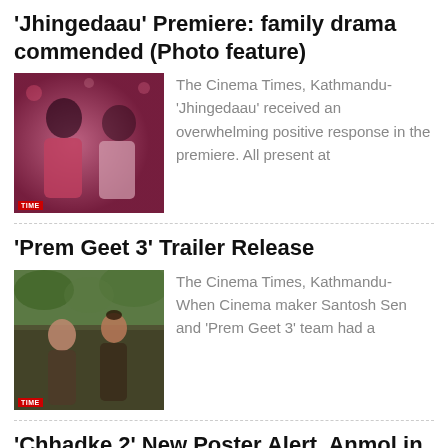'Jhingedaau' Premiere: family drama commended (Photo feature)
[Figure (photo): Two women in glamorous outfits at a premiere event]
The Cinema Times, Kathmandu- 'Jhingedaau' received an overwhelming positive response in the premiere. All present at
'Prem Geet 3' Trailer Release
[Figure (photo): A couple outdoors, man and woman looking at each other]
The Cinema Times, Kathmandu- When Cinema maker Santosh Sen and 'Prem Geet 3' team had a
'Chhadke 2' New Poster Alert, Anmol in notorious avatar
[Figure (photo): Portrait of a man, partially visible]
The Cinema Times, Kathmandu- Actor